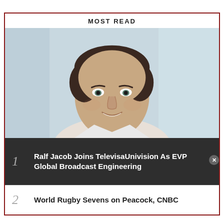MOST READ
[Figure (photo): Headshot of a man with short dark hair, smiling, wearing a collared shirt, blurred office background]
1 Ralf Jacob Joins TelevisaUnivision As EVP Global Broadcast Engineering
2 World Rugby Sevens on Peacock, CNBC